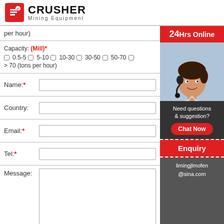[Figure (logo): Crusher Mining Equipment logo with red icon and bold text]
| per hour) |  |
| Capacity: (Mill)* | ☐ 0.5-5  ☐ 5-10  ☐ 10-30  ☐ 30-50
☐ 50-70  ☐ > 70 (tons per hour) |
| Name:* | [text input] |
| Country: | [text input] |
| Email:* | [text input] |
| Tel:* | [text input] |
| Message: | [textarea] |
|  | Submit |
[Figure (photo): Customer service representative with headset, 24Hrs Online banner, Need questions & suggestion? Chat Now button, Enquiry section, limingjlmofen@sina.com contact]